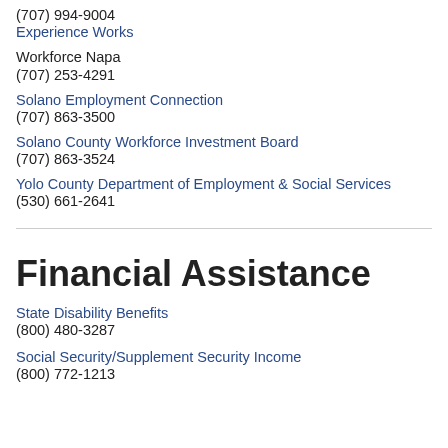(707) 994-9004
Experience Works
Workforce Napa
(707) 253-4291
Solano Employment Connection
(707) 863-3500
Solano County Workforce Investment Board
(707) 863-3524
Yolo County Department of Employment & Social Services
(530) 661-2641
Financial Assistance
State Disability Benefits
(800) 480-3287
Social Security/Supplement Security Income
(800) 772-1213